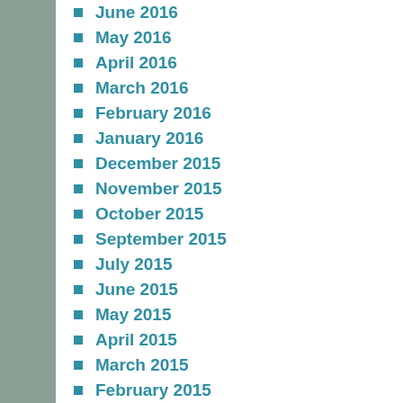June 2016
May 2016
April 2016
March 2016
February 2016
January 2016
December 2015
November 2015
October 2015
September 2015
July 2015
June 2015
May 2015
April 2015
March 2015
February 2015
January 2015
December 2014
November 2014
October 2014
September 2014
August 2014